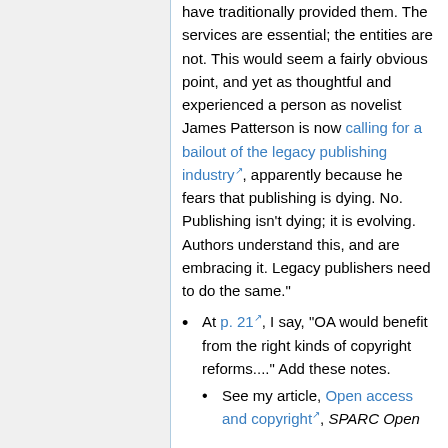have traditionally provided them. The services are essential; the entities are not. This would seem a fairly obvious point, and yet as thoughtful and experienced a person as novelist James Patterson is now calling for a bailout of the legacy publishing industry, apparently because he fears that publishing is dying. No. Publishing isn't dying; it is evolving. Authors understand this, and are embracing it. Legacy publishers need to do the same."
At p. 21, I say, "OA would benefit from the right kinds of copyright reforms...." Add these notes.
See my article, Open access and copyright, SPARC Open Access Newsletter, July 2, 2011.